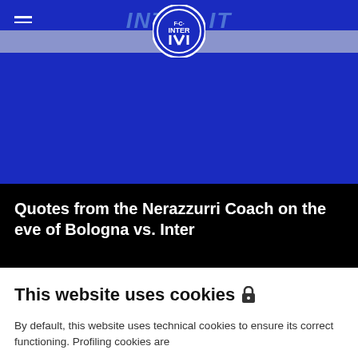[Figure (logo): Inter Milan website header with blue background, hamburger menu icon, and Inter Milan circular crest logo centered on nav bar]
Quotes from the Nerazzurri Coach on the eve of Bologna vs. Inter
This website uses cookies 🔒
By default, this website uses technical cookies to ensure its correct functioning. Profiling cookies are